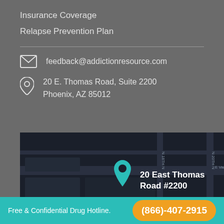Insurance Coverage
Relapse Prevention Plan
feedback@addictionresource.com
20 E. Thomas Road, Suite 2200
Phoenix, AZ 85012
[Figure (map): Dark street map showing location pin at 20 East Thomas Road #2200 in Phoenix, AZ]
Free & Confidential Drug Hotline.  (866)-407-2915